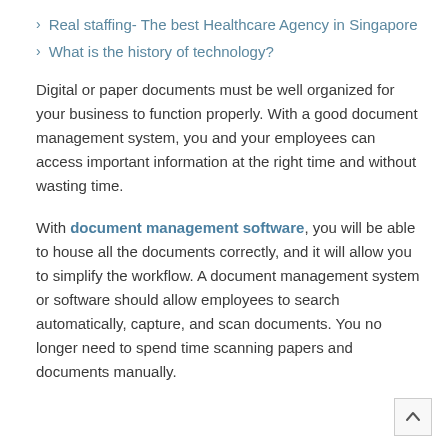Real staffing- The best Healthcare Agency in Singapore
What is the history of technology?
Digital or paper documents must be well organized for your business to function properly. With a good document management system, you and your employees can access important information at the right time and without wasting time.
With document management software, you will be able to house all the documents correctly, and it will allow you to simplify the workflow. A document management system or software should allow employees to search automatically, capture, and scan documents. You no longer need to spend time scanning papers and documents manually.